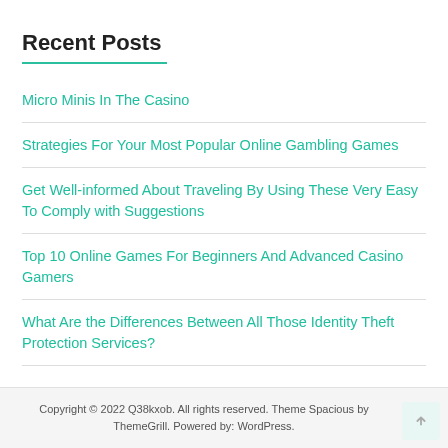Recent Posts
Micro Minis In The Casino
Strategies For Your Most Popular Online Gambling Games
Get Well-informed About Traveling By Using These Very Easy To Comply with Suggestions
Top 10 Online Games For Beginners And Advanced Casino Gamers
What Are the Differences Between All Those Identity Theft Protection Services?
Copyright © 2022 Q38kxob. All rights reserved. Theme Spacious by ThemeGrill. Powered by: WordPress.